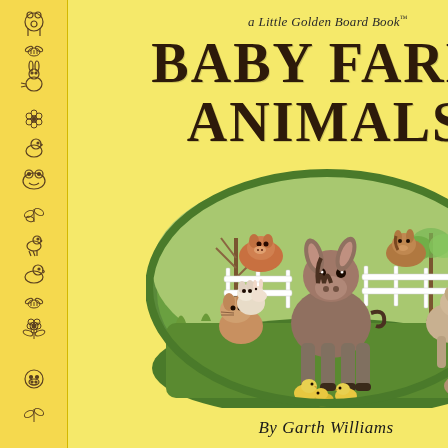[Figure (illustration): Left spine of book with yellow background featuring hand-drawn outlines of farm animals and nature motifs including rabbits, chicks, ducks, frogs, bees, flowers, and leaves arranged vertically]
a Little Golden Board Book™
BABY FARM ANIMALS
[Figure (illustration): Detailed color illustration of baby farm animals in a pastoral scene: a central baby donkey surrounded by kittens with a rabbit, a baby calf and foal looking over a white fence, a baby goat on the right, yellow ducklings in the foreground, and a hedgehog, with trees and flowers in the background]
By Garth Williams